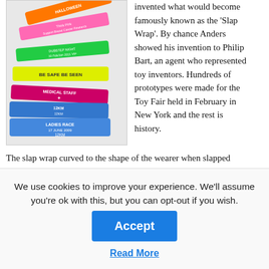[Figure (photo): A fan of colorful slap wrap wristbands in various colors including pink, green, yellow, and blue with text labels such as 'MEDICAL STAFF', 'BE SAFE BE SEEN', 'LADIES RACE 17 JUNE 2009 12KM', etc.]
invented what would become famously known as the 'Slap Wrap'. By chance Anders showed his invention to Philip Bart, an agent who represented toy inventors. Hundreds of prototypes were made for the Toy Fair held in February in New York and the rest is history.
The slap wrap curved to the shape of the wearer when slapped against the wrist and set the wheel in motion for the promotional wristbands' entry into contemporary daily life. Slap wraps are still used to
We use cookies to improve your experience. We'll assume you're ok with this, but you can opt-out if you wish.
Accept
Read More